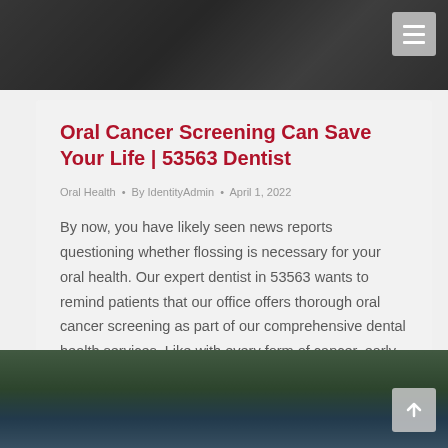[Figure (photo): Dark blurred newspaper or document photo used as page header background]
Oral Cancer Screening Can Save Your Life | 53563 Dentist
Oral Health • By IdentityAdmin • April 1, 2022
By now, you have likely seen news reports questioning whether flossing is necessary for your oral health. Our expert dentist in 53563 wants to remind patients that our office offers thorough oral cancer screening as part of our comprehensive dental health services. Like with every form of cancer, early diagnosis can have a profound impact…
[Figure (photo): Outdoor landscape photo with trees and mountains used as page footer background]